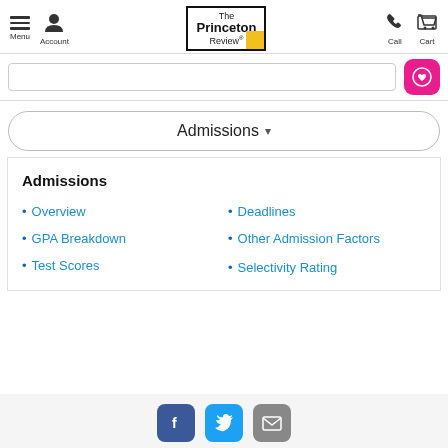Menu | Account | The Princeton Review | Call | Cart
[Figure (screenshot): Search bar row with pink heart/save button on right]
Admissions ▾
Admissions
Overview
GPA Breakdown
Test Scores
Deadlines
Other Admission Factors
Selectivity Rating
Facebook | Twitter | Email